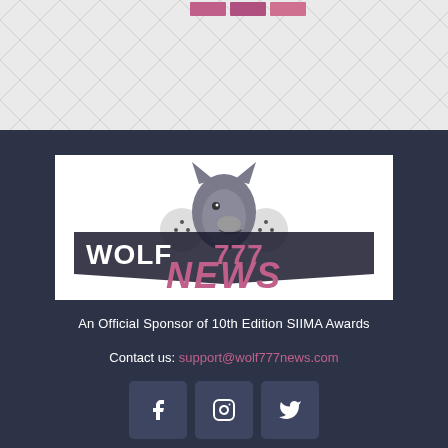[Figure (illustration): Top section with geometric diamond/lattice pattern background in light gray, with three pink/mauve rectangular bars at the top center]
[Figure (logo): Wolf777 News logo on white background: gray wolf head illustration above text 'WOLF777' in bold styled font with pink '777', and 'NEWS' in large pink stylized letters below]
An Official Sponsor of 10th Edition SIIMA Awards
Contact us: support@wolf777news.com
[Figure (illustration): Three social media icon buttons (Facebook, Instagram, Twitter) in dark blue-gray rounded square buttons]